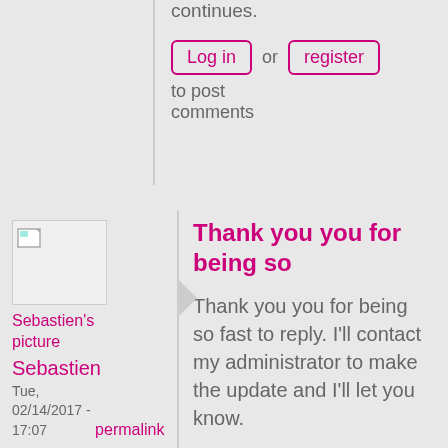continues.
Log in or register to post comments
[Figure (other): User avatar placeholder image for Sebastien's picture]
Sebastien's picture
Sebastien
Tue, 02/14/2017 - 17:07
permalink
Thank you you for being so
Thank you you for being so fast to reply. I'll contact my administrator to make the update and I'll let you know.
Log in or register to post comments